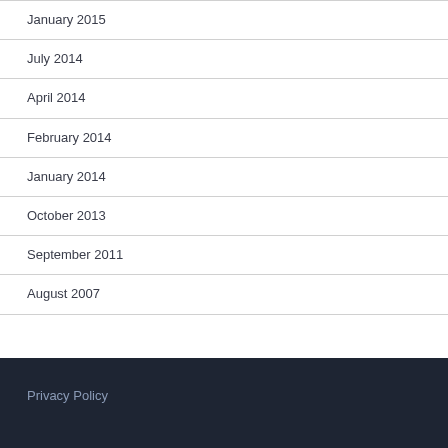January 2015
July 2014
April 2014
February 2014
January 2014
October 2013
September 2011
August 2007
Privacy Policy